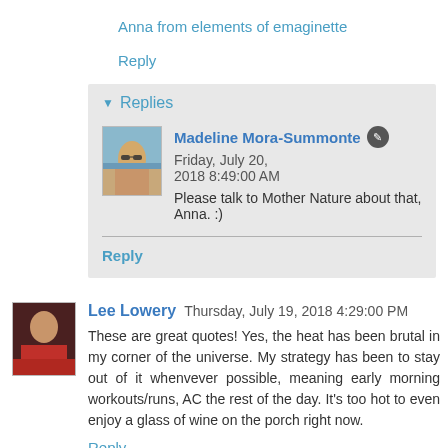Anna from elements of emaginette
Reply
▾ Replies
Madeline Mora-Summonte ✎ Friday, July 20, 2018 8:49:00 AM
Please talk to Mother Nature about that, Anna. :)
Reply
Lee Lowery  Thursday, July 19, 2018 4:29:00 PM
These are great quotes! Yes, the heat has been brutal in my corner of the universe. My strategy has been to stay out of it whenvever possible, meaning early morning workouts/runs, AC the rest of the day. It's too hot to even enjoy a glass of wine on the porch right now.
Reply